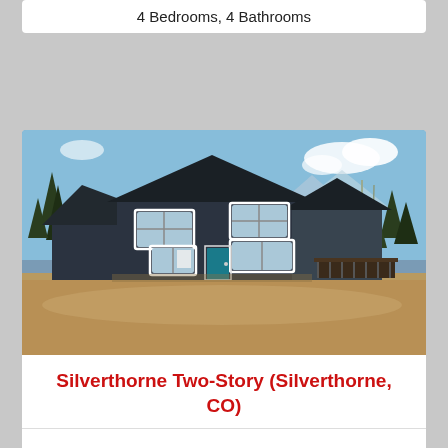4 Bedrooms, 4 Bathrooms
[Figure (photo): Exterior photo of a dark navy blue two-story house with white-trimmed windows, a teal/blue front door, attached garage, wood deck on right side, surrounded by pine and aspen trees against a blue sky with mountains in background. Unpaved dirt in foreground.]
Silverthorne Two-Story (Silverthorne, CO)
2,400 Square Feet
3 Bedrooms, 3 Bathrooms